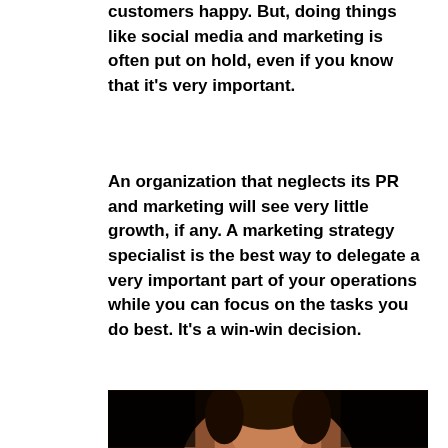customers happy. But, doing things like social media and marketing is often put on hold, even if you know that it's very important.
An organization that neglects its PR and marketing will see very little growth, if any. A marketing strategy specialist is the best way to delegate a very important part of your operations while you can focus on the tasks you do best. It's a win-win decision.
[Figure (photo): A photo of a person's face against a dark background, partially visible at the bottom of the page.]